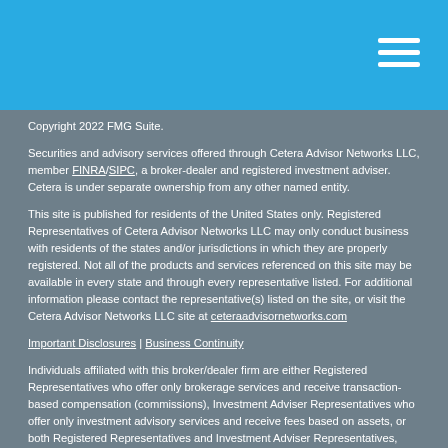Copyright 2022 FMG Suite.
Securities and advisory services offered through Cetera Advisor Networks LLC, member FINRA/SIPC, a broker-dealer and registered investment adviser. Cetera is under separate ownership from any other named entity.
This site is published for residents of the United States only. Registered Representatives of Cetera Advisor Networks LLC may only conduct business with residents of the states and/or jurisdictions in which they are properly registered. Not all of the products and services referenced on this site may be available in every state and through every representative listed. For additional information please contact the representative(s) listed on the site, or visit the Cetera Advisor Networks LLC site at ceteraadvisornetworks.com
Important Disclosures | Business Continuity
Individuals affiliated with this broker/dealer firm are either Registered Representatives who offer only brokerage services and receive transaction-based compensation (commissions), Investment Adviser Representatives who offer only investment advisory services and receive fees based on assets, or both Registered Representatives and Investment Adviser Representatives, who can offer both types of services.